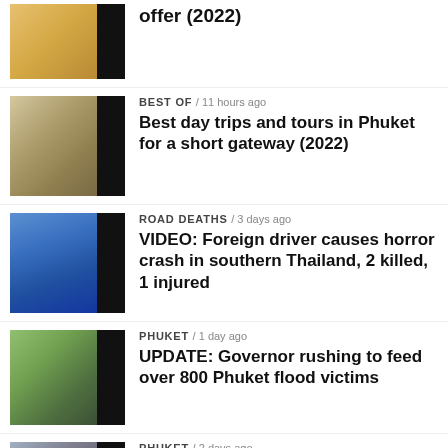[Figure (photo): Thumbnail image partially visible at top, food/market scene]
offer (2022)
[Figure (photo): Woman standing on street in Phuket]
BEST OF / 11 hours ago
Best day trips and tours in Phuket for a short gateway (2022)
[Figure (photo): Blue vehicle involved in road crash in southern Thailand]
ROAD DEATHS / 3 days ago
VIDEO: Foreign driver causes horror crash in southern Thailand, 2 killed, 1 injured
[Figure (photo): People in hi-vis vests, Phuket flood response]
PHUKET / 1 day ago
UPDATE: Governor rushing to feed over 800 Phuket flood victims
[Figure (photo): Flooded street in Phuket with car]
PHUKET / 2 days ago
UPDATE: Prayut calls in army to help with Phuket floods
[Figure (photo): Partial thumbnail at bottom]
PHUKET / 3 days ago